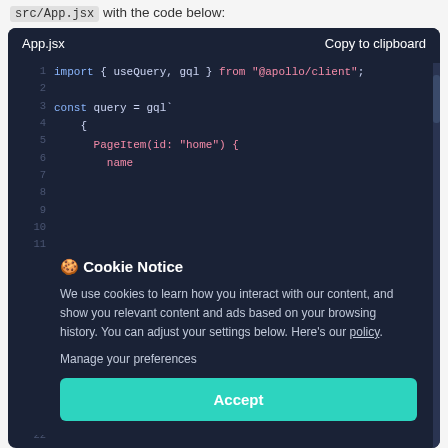src/App.jsx with the code below:
[Figure (screenshot): Code editor block showing App.jsx with syntax-highlighted JavaScript/JSX code using Apollo Client, with a cookie consent overlay dialog containing Accept button.]
🍪 Cookie Notice
We use cookies to learn how you interact with our content, and show you relevant content and ads based on your browsing history. You can adjust your settings below. Here's our policy.
Manage your preferences
Accept